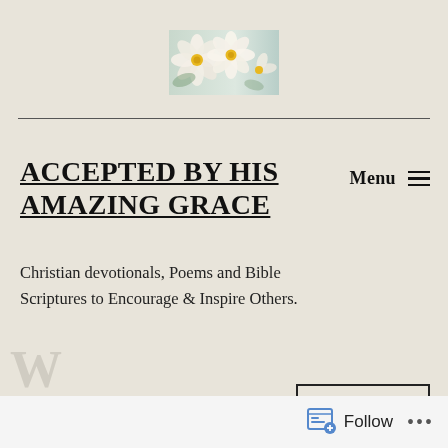[Figure (photo): A close-up photo of white flowers with yellow centers on a light blue-green background, used as a blog header image.]
ACCEPTED BY HIS AMAZING GRACE
Menu ☰
Christian devotionals, Poems and Bible Scriptures to Encourage & Inspire Others.
Follow ...